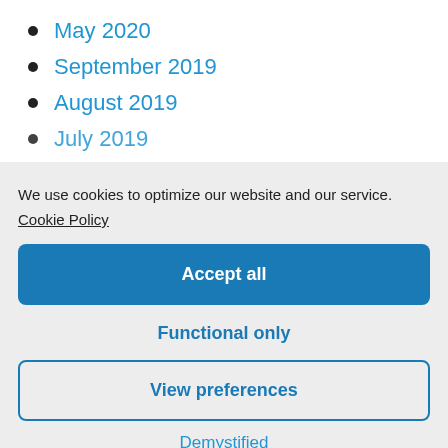May 2020
September 2019
August 2019
July 2019
We use cookies to optimize our website and our service.
Cookie Policy
Accept all
Functional only
View preferences
Demystified